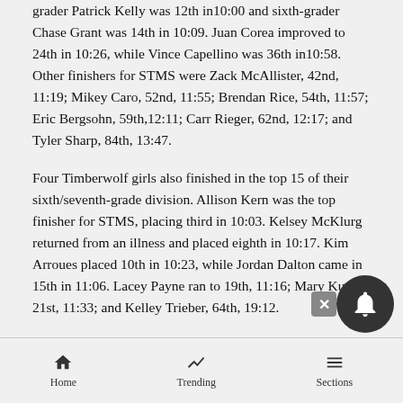grader Patrick Kelly was 12th in10:00 and sixth-grader Chase Grant was 14th in 10:09. Juan Corea improved to 24th in 10:26, while Vince Capellino was 36th in10:58. Other finishers for STMS were Zack McAllister, 42nd, 11:19; Mikey Caro, 52nd, 11:55; Brendan Rice, 54th, 11:57; Eric Bergsohn, 59th,12:11; Carr Rieger, 62nd, 12:17; and Tyler Sharp, 84th, 13:47.
Four Timberwolf girls also finished in the top 15 of their sixth/seventh-grade division. Allison Kern was the top finisher for STMS, placing third in 10:03. Kelsey McKlurg returned from an illness and placed eighth in 10:17. Kim Arroues placed 10th in 10:23, while Jordan Dalton came in 15th in 11:06. Lacey Payne ran to 19th, 11:16; Mary Kurek, 21st, 11:33; and Kelley Trieber, 64th, 19:12.
In eighth-grade action, Brianna Biller ran well enough
Home  Trending  Sections